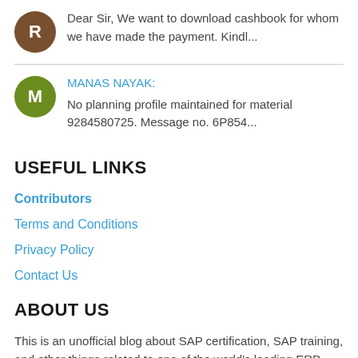Dear Sir, We want to download cashbook for whom we have made the payment. Kindl...
MANAS NAYAK: No planning profile maintained for material 9284580725. Message no. 6P854...
USEFUL LINKS
Contributors
Terms and Conditions
Privacy Policy
Contact Us
ABOUT US
This is an unofficial blog about SAP certification, SAP training, and other things related to one of the world's leading ERP system.
This blog is independent and NOT affiliated with SAP SE (the company behind SAP ERP system). Your usage of this website signifies your